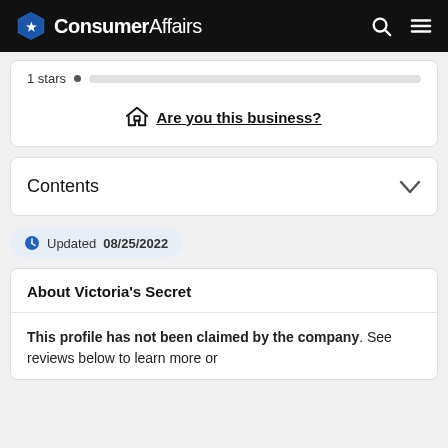ConsumerAffairs
1 stars •
📢 Are you this business?
Contents
Updated 08/25/2022
About Victoria's Secret
This profile has not been claimed by the company. See reviews below to learn more or